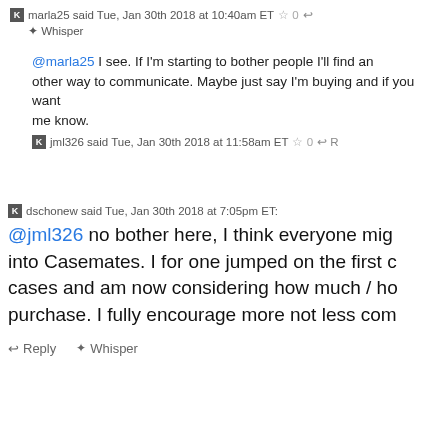marla25 said Tue, Jan 30th 2018 at 10:40am ET ☆ 0 ↩ Whisper
@marla25 I see. If I'm starting to bother people I'll find another way to communicate. Maybe just say I'm buying and if you want details let me know.
jml326 said Tue, Jan 30th 2018 at 11:58am ET ☆ 0 ↩ R
dschonew said Tue, Jan 30th 2018 at 7:05pm ET:
@jml326 no bother here, I think everyone migh...into Casemates. I for one jumped on the first c...cases and am now considering how much / ho...purchase. I fully encourage more not less com...
↩ Reply  ✦ Whisper